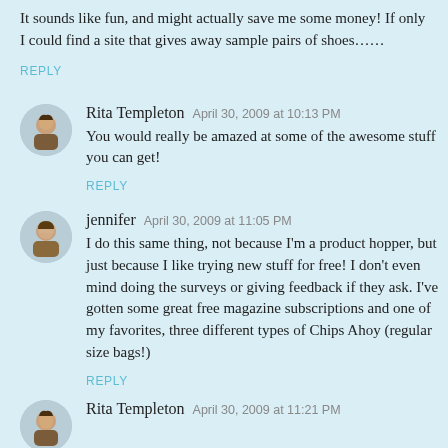It sounds like fun, and might actually save me some money! If only I could find a site that gives away sample pairs of shoes……
REPLY
Rita Templeton  April 30, 2009 at 10:13 PM
You would really be amazed at some of the awesome stuff you can get!
REPLY
jennifer  April 30, 2009 at 11:05 PM
I do this same thing, not because I'm a product hopper, but just because I like trying new stuff for free! I don't even mind doing the surveys or giving feedback if they ask. I've gotten some great free magazine subscriptions and one of my favorites, three different types of Chips Ahoy (regular size bags!)
REPLY
Rita Templeton  April 30, 2009 at 11:21 PM